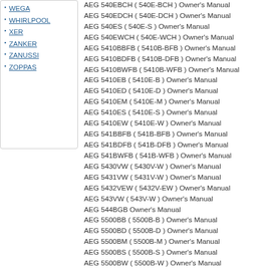WEGA
WHIRLPOOL
XER
ZANKER
ZANUSSI
ZOPPAS
AEG 540EBCH ( 540E-BCH ) Owner's Manual
AEG 540EDCH ( 540E-DCH ) Owner's Manual
AEG 540ES ( 540E-S ) Owner's Manual
AEG 540EWCH ( 540E-WCH ) Owner's Manual
AEG 5410BBFB ( 5410B-BFB ) Owner's Manual
AEG 5410BDFB ( 5410B-DFB ) Owner's Manual
AEG 5410BWFB ( 5410B-WFB ) Owner's Manual
AEG 5410EB ( 5410E-B ) Owner's Manual
AEG 5410ED ( 5410E-D ) Owner's Manual
AEG 5410EM ( 5410E-M ) Owner's Manual
AEG 5410ES ( 5410E-S ) Owner's Manual
AEG 5410EW ( 5410E-W ) Owner's Manual
AEG 541BBFB ( 541B-BFB ) Owner's Manual
AEG 541BDFB ( 541B-DFB ) Owner's Manual
AEG 541BWFB ( 541B-WFB ) Owner's Manual
AEG 5430VW ( 5430V-W ) Owner's Manual
AEG 5431VW ( 5431V-W ) Owner's Manual
AEG 5432VEW ( 5432V-EW ) Owner's Manual
AEG 543VW ( 543V-W ) Owner's Manual
AEG 544BGB Owner's Manual
AEG 5500BB ( 5500B-B ) Owner's Manual
AEG 5500BD ( 5500B-D ) Owner's Manual
AEG 5500BM ( 5500B-M ) Owner's Manual
AEG 5500BS ( 5500B-S ) Owner's Manual
AEG 5500BW ( 5500B-W ) Owner's Manual
AEG 550BCHS ( 550B CH/S ) Owner's Manual
AEG 550BS ( 550B-S ) Owner's Manual
AEG 5532VW ( 5532V-W ) Owner's Manual
AEG 55XGR Owner's Manual
AEG 560Dd ( 560 D d ) Owner's Manual
AEG 560Dw ( 560 D w ) Owner's Manual
AEG 5608Dd ( 5608 D d ) Owner's Manual
AEG 5608DDGB ( 5608D-D/GB ) Owner's Manual
AEG 560DDGB ( 560D-D/GB ) Owner's Manual
AEG 560DWGB ( 560D-W/GB ) Owner's Manual
AEG 561Dd ( 561 D d ) Owner's Manual
AEG 561Dw ( 561 D w ) Owner's Manual